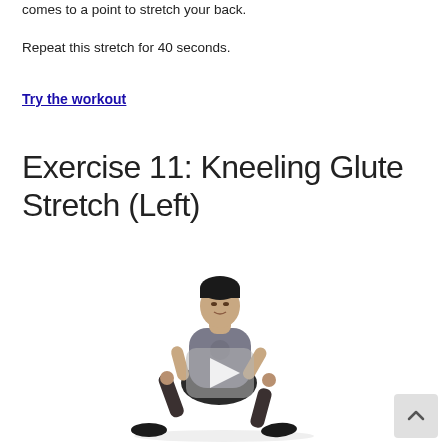comes to a point to stretch your back.
Repeat this stretch for 40 seconds.
Try the workout
Exercise 11: Kneeling Glute Stretch (Left)
[Figure (illustration): 3D rendered man performing a kneeling lunge stretch with a video play button overlay, demonstrating the Kneeling Glute Stretch (Left) exercise]